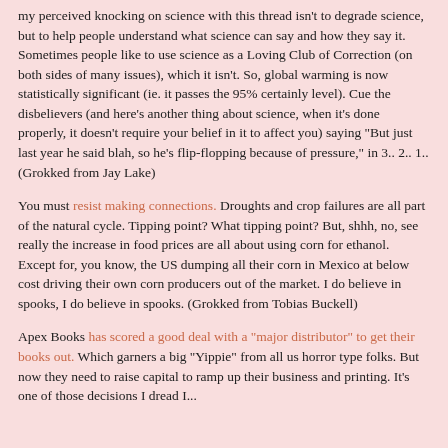my perceived knocking on science with this thread isn't to degrade science, but to help people understand what science can say and how they say it. Sometimes people like to use science as a Loving Club of Correction (on both sides of many issues), which it isn't. So, global warming is now statistically significant (ie. it passes the 95% certainly level). Cue the disbelievers (and here's another thing about science, when it's done properly, it doesn't require your belief in it to affect you) saying "But just last year he said blah, so he's flip-flopping because of pressure," in 3.. 2.. 1.. (Grokked from Jay Lake)
You must resist making connections. Droughts and crop failures are all part of the natural cycle. Tipping point? What tipping point? But, shhh, no, see really the increase in food prices are all about using corn for ethanol. Except for, you know, the US dumping all their corn in Mexico at below cost driving their own corn producers out of the market. I do believe in spooks, I do believe in spooks. (Grokked from Tobias Buckell)
Apex Books has scored a good deal with a "major distributor" to get their books out. Which garners a big "Yippie" from all us horror type folks. But now they need to raise capital to ramp up their business and printing. It's one of those decisions I dread I...